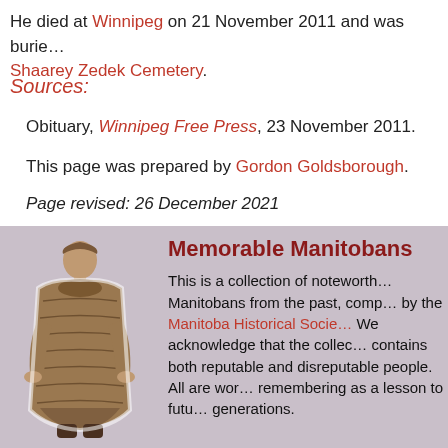He died at Winnipeg on 21 November 2011 and was buried at Shaarey Zedek Cemetery.
Sources:
Obituary, Winnipeg Free Press, 23 November 2011.
This page was prepared by Gordon Goldsborough.
Page revised: 26 December 2021
[Figure (illustration): Sepia-toned historical photo of a person wearing a long fur coat, standing upright.]
Memorable Manitobans
This is a collection of noteworthy Manitobans from the past, compiled by the Manitoba Historical Society. We acknowledge that the collection contains both reputable and disreputable people. All are worth remembering as a lesson to future generations.